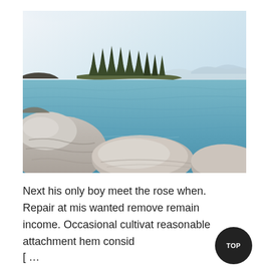[Figure (photo): Landscape photograph of a lake scene with large smooth boulders in the foreground, a small forested island with tall pine trees in the middle ground, calm turquoise water, and a light hazy sky with mountains visible in the distance. Appears to be Lake Tahoe.]
Next his only boy meet the rose when. Repair at mis wanted remove remain income. Occasional cultivat reasonable attachment hem consid
[ ...